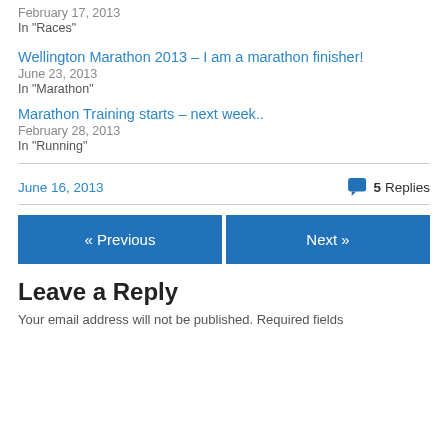February 17, 2013
In "Races"
Wellington Marathon 2013 – I am a marathon finisher!
June 23, 2013
In "Marathon"
Marathon Training starts – next week..
February 28, 2013
In "Running"
June 16, 2013
5 Replies
« Previous
Next »
Leave a Reply
Your email address will not be published. Required fields